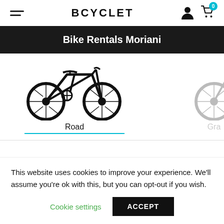BCYCLET
Bike Rentals Moriani
[Figure (photo): Road bicycle silhouette image with label 'Road' and partial second bicycle (Gravel) visible on the right edge]
This website uses cookies to improve your experience. We'll assume you're ok with this, but you can opt-out if you wish.
Cookie settings  ACCEPT